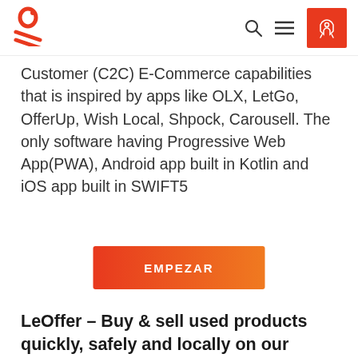[Figure (logo): Orange/red stylized 'no' logo with two lines underneath, resembling a market listing brand]
Customer (C2C) E-Commerce capabilities that is inspired by apps like OLX, LetGo, OfferUp, Wish Local, Shpock, Carousell. The only software having Progressive Web App(PWA), Android app built in Kotlin and iOS app built in SWIFT5
EMPEZAR
LeOffer – Buy & sell used products quickly, safely and locally on our OfferUp Clone,